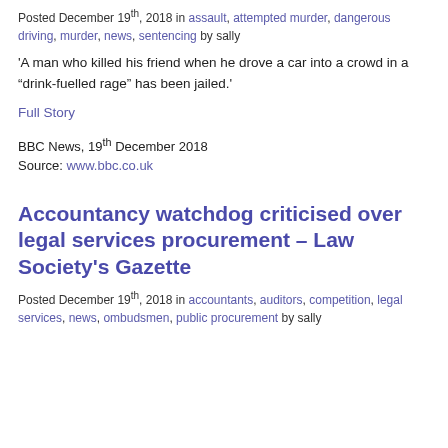Posted December 19th, 2018 in assault, attempted murder, dangerous driving, murder, news, sentencing by sally
'A man who killed his friend when he drove a car into a crowd in a “drink-fuelled rage” has been jailed.'
Full Story
BBC News, 19th December 2018
Source: www.bbc.co.uk
Accountancy watchdog criticised over legal services procurement – Law Society’s Gazette
Posted December 19th, 2018 in accountants, auditors, competition, legal services, news, ombudsmen, public procurement by sally